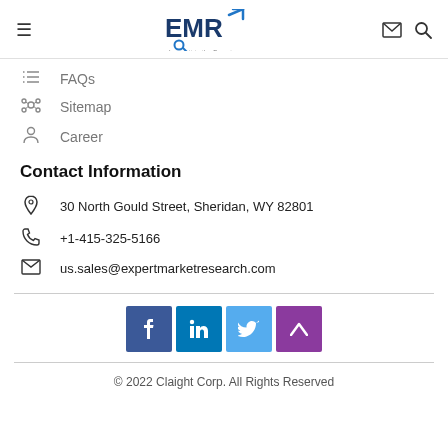EMR - Leave it to the Experts [logo header with hamburger, email, search icons]
FAQs
Sitemap
Career
Contact Information
30 North Gould Street, Sheridan, WY 82801
+1-415-325-5166
us.sales@expertmarketresearch.com
[Figure (infographic): Social media buttons: Facebook (blue), LinkedIn (dark blue), Twitter (light blue), scroll-up (purple)]
© 2022 Claight Corp. All Rights Reserved